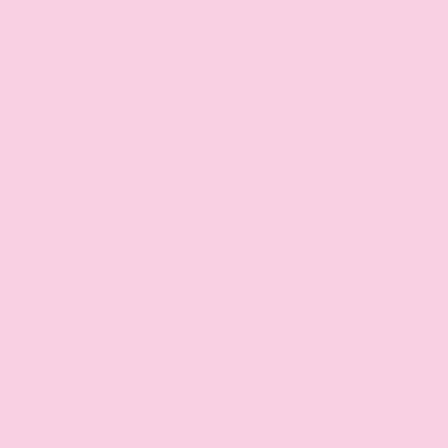[sic] Even though Justice Brennan had also clerked at the Supreme Court (for Justice Go he still bro an exp hig cou cle